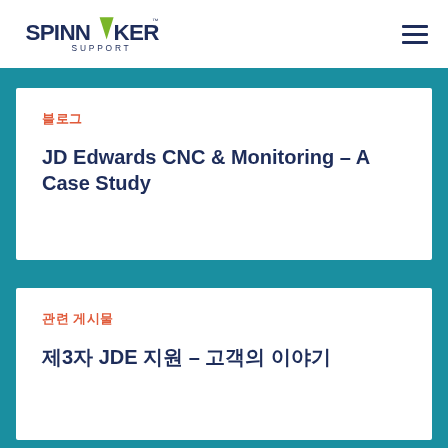SPINNAKER SUPPORT
블로그
JD Edwards CNC & Monitoring – A Case Study
관련 게시물
제3자 JDE 지원 – 고객의 이야기